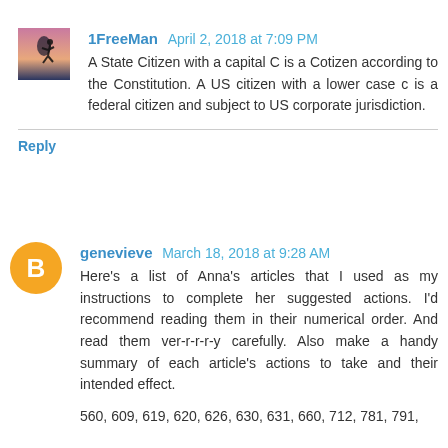1FreeMan  April 2, 2018 at 7:09 PM
A State Citizen with a capital C is a Cotizen according to the Constitution. A US citizen with a lower case c is a federal citizen and subject to US corporate jurisdiction.
Reply
genevieve  March 18, 2018 at 9:28 AM
Here's a list of Anna's articles that I used as my instructions to complete her suggested actions. I'd recommend reading them in their numerical order. And read them ver-r-r-r-y carefully. Also make a handy summary of each article's actions to take and their intended effect.
560, 609, 619, 620, 626, 630, 631, 660, 712, 781, 791,